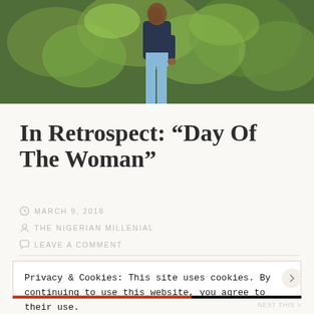[Figure (photo): Top portion of a blog page showing a photo of a person in light blue clothing standing in front of green foliage]
In Retrospect: “Day Of The Woman”
MARCH 9, 2018
THE NIGERIAN MILLENIAL
LEAVE A COMMENT
Privacy & Cookies: This site uses cookies. By continuing to use this website, you agree to their use.
To find out more, including how to control cookies, see here: Cookie Policy
Close and accept